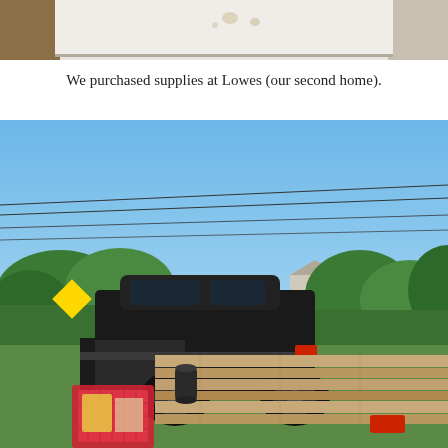[Figure (photo): Partial top photo showing a light-colored surface with small spots or droplets, cropped at bottom edge.]
We purchased supplies at Lowes (our second home).
[Figure (photo): Outdoor photo of a dark pickup truck loaded with lumber in its truck bed, along with a shopping cart containing supplies. Background shows blue sky, power lines, green trees and shrubs, and a yellow road sign.]